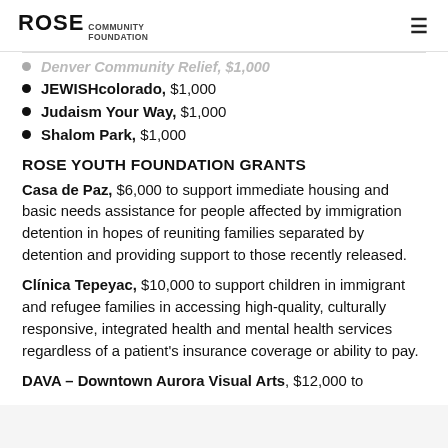ROSE COMMUNITY FOUNDATION
Denver Community Relief, $1,000 (partial, cut off at top)
JEWISHcolorado, $1,000
Judaism Your Way, $1,000
Shalom Park, $1,000
ROSE YOUTH FOUNDATION GRANTS
Casa de Paz, $6,000 to support immediate housing and basic needs assistance for people affected by immigration detention in hopes of reuniting families separated by detention and providing support to those recently released.
Clínica Tepeyac, $10,000 to support children in immigrant and refugee families in accessing high-quality, culturally responsive, integrated health and mental health services regardless of a patient's insurance coverage or ability to pay.
DAVA – Downtown Aurora Visual Arts, $12,000 to